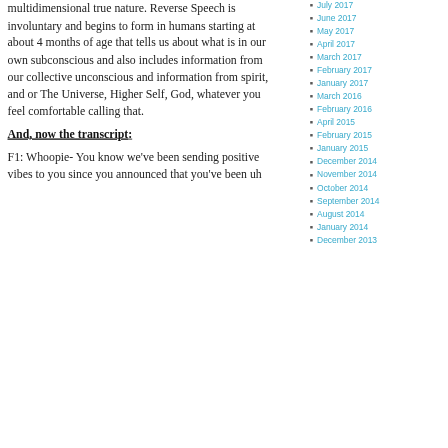multidimensional true nature. Reverse Speech is involuntary and begins to form in humans starting at about 4 months of age that tells us about what is in our own subconscious and also includes information from our collective unconscious and information from spirit, and or The Universe, Higher Self, God, whatever you feel comfortable calling that.
And, now the transcript:
F1: Whoopie- You know we've been sending positive vibes to you since you announced that you've been uh
July 2017
June 2017
May 2017
April 2017
March 2017
February 2017
January 2017
March 2016
February 2016
April 2015
February 2015
January 2015
December 2014
November 2014
October 2014
September 2014
August 2014
January 2014
December 2013